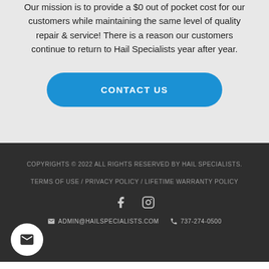Our mission is to provide a $0 out of pocket cost for our customers while maintaining the same level of quality repair & service! There is a reason our customers continue to return to Hail Specialists year after year.
CONTACT US
COPYRIGHTS © 2022 ALL RIGHTS RESERVED BY HAIL SPECIALISTS.
TERMS OF USE / PRIVACY POLICY / LIFETIME WARRANTY POLICY
ADMIN@HAILSPECIALISTS.COM  737-274-0500